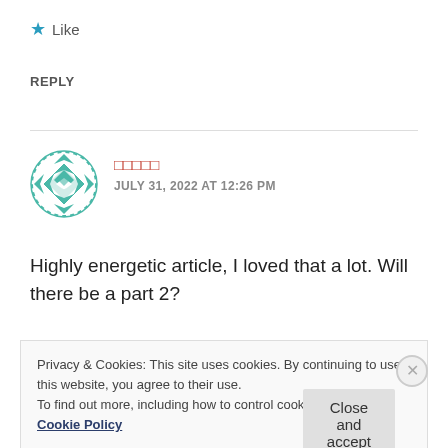★ Like
REPLY
[Figure (illustration): Teal/green geometric avatar icon with diamond pattern]
□□□□□
JULY 31, 2022 AT 12:26 PM
Highly energetic article, I loved that a lot. Will there be a part 2?
Privacy & Cookies: This site uses cookies. By continuing to use this website, you agree to their use.
To find out more, including how to control cookies, see here: Cookie Policy
Close and accept